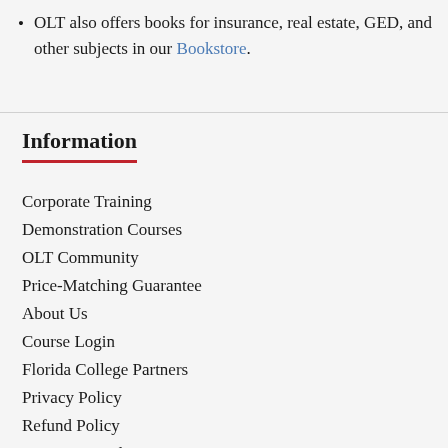OLT also offers books for insurance, real estate, GED, and other subjects in our Bookstore.
Information
Corporate Training
Demonstration Courses
OLT Community
Price-Matching Guarantee
About Us
Course Login
Florida College Partners
Privacy Policy
Refund Policy
Terms & Conditions